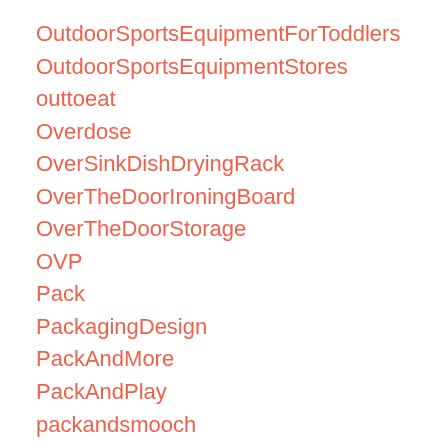OutdoorSportsEquipmentForToddlers
OutdoorSportsEquipmentStores
outtoeat
Overdose
OverSinkDishDryingRack
OverTheDoorIroningBoard
OverTheDoorStorage
OVP
Pack
PackagingDesign
PackAndMore
PackAndPlay
packandsmooch
Packing